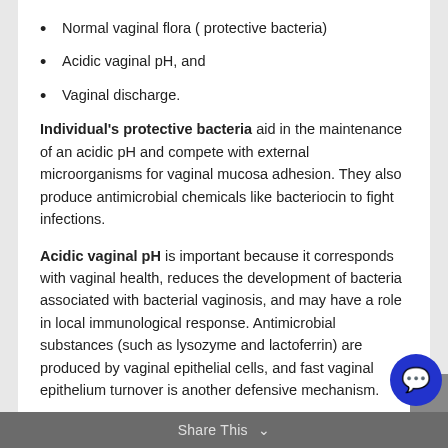Normal vaginal flora ( protective bacteria)
Acidic vaginal pH, and
Vaginal discharge.
Individual's protective bacteria aid in the maintenance of an acidic pH and compete with external microorganisms for vaginal mucosa adhesion. They also produce antimicrobial chemicals like bacteriocin to fight infections.
Acidic vaginal pH is important because it corresponds with vaginal health, reduces the development of bacteria associated with bacterial vaginosis, and may have a role in local immunological response. Antimicrobial substances (such as lysozyme and lactoferrin) are produced by vaginal epithelial cells, and fast vaginal epithelium turnover is another defensive mechanism.
Share This